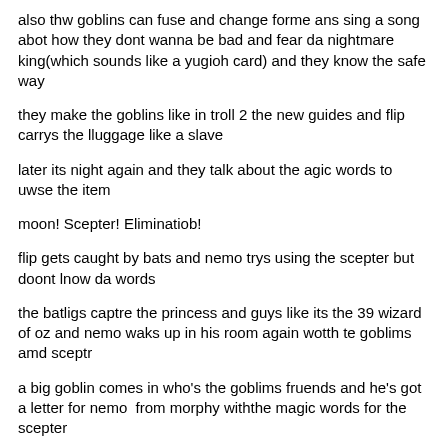also thw goblins can fuse and change forme ans sing a song abot how they dont wanna be bad and fear da nightmare king(which sounds like a yugioh card) and they know the safe way
they make the goblins like in troll 2 the new guides and flip carrys the lluggage like a slave
later its night again and they talk about the agic words to uwse the item
moon! Scepter! Eliminatiob!
flip gets caught by bats and nemo trys using the scepter but doont lnow da words
the batligs captre the princess and guys like its the 39 wizard of oz and nemo waks up in his room again wotth te goblims amd sceptr
a big goblin comes in who's the goblims fruends and he's got a letter for nemo  from morphy withthe magic words for the scepter